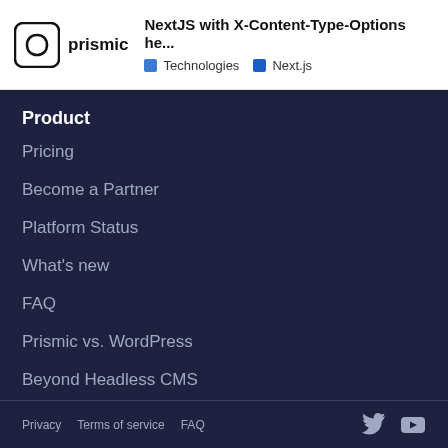prismic — NextJS with X-Content-Type-Options he... — Technologies · Next.js
Product
Pricing
Become a Partner
Platform Status
What's new
FAQ
Prismic vs. WordPress
Beyond Headless CMS
We deploy everyday
Privacy   Terms of service   FAQ